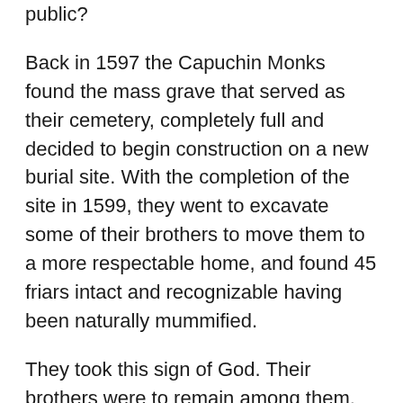public?
Back in 1597 the Capuchin Monks found the mass grave that served as their cemetery, completely full and decided to begin construction on a new burial site. With the completion of the site in 1599, they went to excavate some of their brothers to move them to a more respectable home, and found 45 friars intact and recognizable having been naturally mummified.
They took this sign of God. Their brothers were to remain among them. The monks began purposefully mummifying their own dead and displaying them.  This was a way to visit them, gain knowledge and worship God